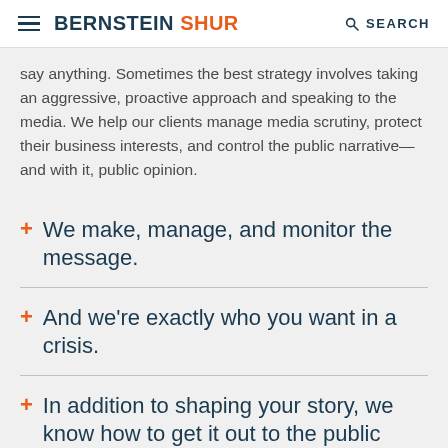BERNSTEIN SHUR  SEARCH
say anything. Sometimes the best strategy involves taking an aggressive, proactive approach and speaking to the media. We help our clients manage media scrutiny, protect their business interests, and control the public narrative—and with it, public opinion.
We make, manage, and monitor the message.
And we're exactly who you want in a crisis.
In addition to shaping your story, we know how to get it out to the public